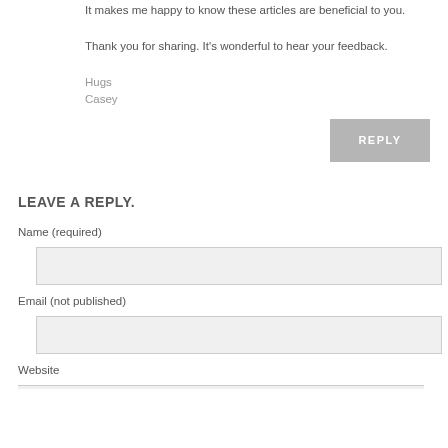It makes me happy to know these articles are beneficial to you.
Thank you for sharing. It's wonderful to hear your feedback.
Hugs
Casey
REPLY
LEAVE A REPLY.
Name (required)
Email (not published)
Website